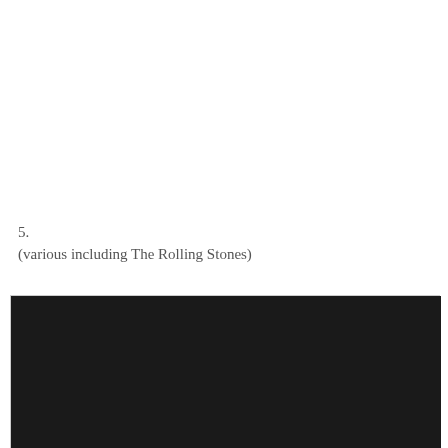5.
(various including The Rolling Stones)
[Figure (photo): Dark/black image, likely an album cover or photograph, nearly fully black with slight texture]